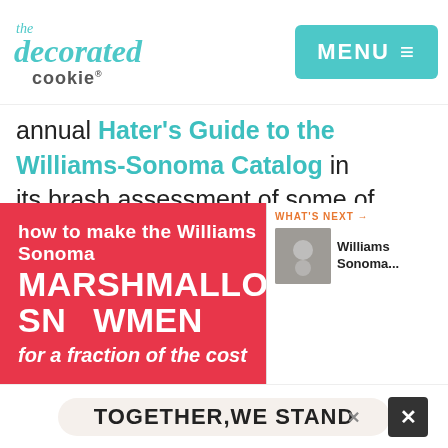the decorated cookie — MENU
annual Hater's Guide to the Williams-Sonoma Catalog in its brash assessment of some of the most ridiculously-priced items the store has to offer. And it does a fine job of tarnishing the gild.  I was struck by Item #91, the marshmallow snowmen stirrers, as I'm usually struck when I see my ideas being so'... 9.2K
[Figure (screenshot): Red promotional banner reading 'how to make the Williams Sonoma MARSHMALLOW SNOWMEN for a fraction of the cost' with a 'What's Next: Williams Sonoma...' overlay on the right side]
TOGETHER, WE STAND